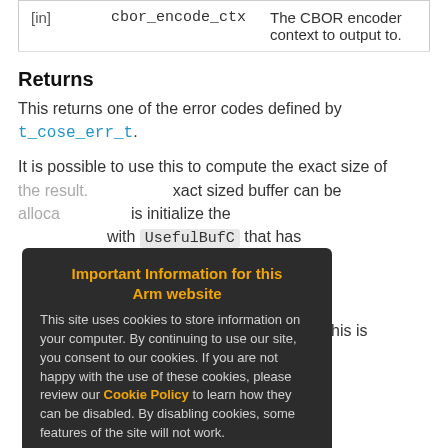| [in] | cbor_encode_ctx | The CBOR encoder context to output to. |
| --- | --- | --- |
| [in] | cbor_encode_ctx | The CBOR encoder context to output to. |
Returns
This returns one of the error codes defined by t_cose_err_t.
It is possible to use this to compute the exact size of the result. exact sized buffer can be allocated. initialize the with UsefulBufC that has length like he normal token creation. NULL pointer and the length of been created. When this is hnic functions will not actually run, but the size of heir output will be taken
[Figure (screenshot): Cookie consent overlay with title 'Important Information for this Arm website', body text about cookies, a Cookie Policy link, and an 'Accept and hide this message' button.]